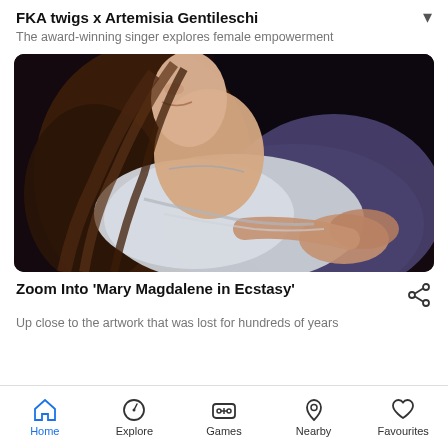FKA twigs x Artemisia Gentileschi
The award-winning singer explores female empowerment
[Figure (photo): Baroque painting of Mary Magdalene in Ecstasy by Artemisia Gentileschi — a woman with long auburn hair reclines with head tilted back, wearing a white off-shoulder garment and purple drapery, hands clasped, against a dark background.]
Zoom Into 'Mary Magdalene in Ecstasy'
Up close to the artwork that was lost for hundreds of years
Home  Explore  Games  Nearby  Favourites